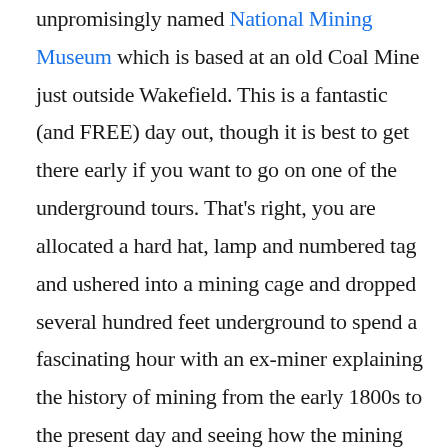unpromisingly named National Mining Museum which is based at an old Coal Mine just outside Wakefield. This is a fantastic (and FREE) day out, though it is best to get there early if you want to go on one of the underground tours. That's right, you are allocated a hard hat, lamp and numbered tag and ushered into a mining cage and dropped several hundred feet underground to spend a fascinating hour with an ex-miner explaining the history of mining from the early 1800s to the present day and seeing how the mining techniques changed over that period. On your return to the surface you hand in your hat, lamp and the numbered tag that is used to ensure that everybody in the group has actually come back to the surface.... The rest of the museum is fascinating and shows how mining developed over the